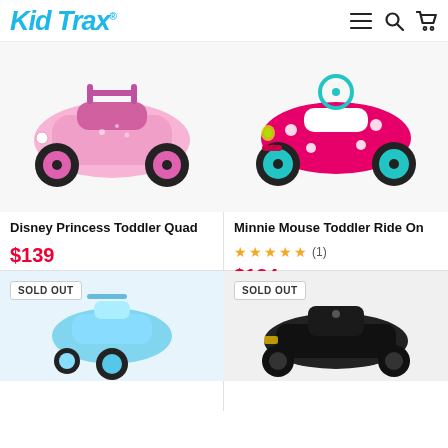Kid Trax
[Figure (photo): Disney Princess Toddler Quad - pink ATV toy]
Disney Princess Toddler Quad
$139
[Figure (photo): Minnie Mouse Toddler Ride On - hot pink ATV toy with teal accents]
Minnie Mouse Toddler Ride On
★★★★★ (1)
$134
[Figure (photo): SOLD OUT - Frozen themed toddler ride on, blue/teal]
[Figure (photo): SOLD OUT - Black go-kart style ride on]